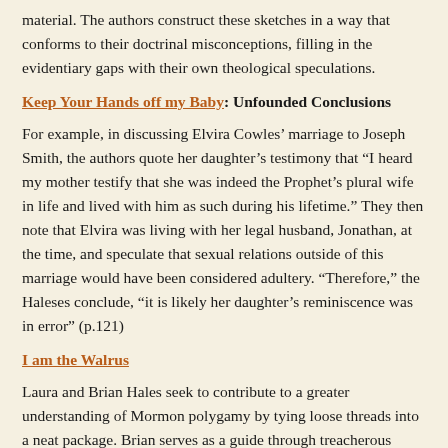material. The authors construct these sketches in a way that conforms to their doctrinal misconceptions, filling in the evidentiary gaps with their own theological speculations.
Keep Your Hands off my Baby: Unfounded Conclusions
For example, in discussing Elvira Cowles’ marriage to Joseph Smith, the authors quote her daughter’s testimony that “I heard my mother testify that she was indeed the Prophet’s plural wife in life and lived with him as such during his lifetime.” They then note that Elvira was living with her legal husband, Jonathan, at the time, and speculate that sexual relations outside of this marriage would have been considered adultery. “Therefore,” the Haleses conclude, “it is likely her daughter’s reminiscence was in error” (p.121)
I am the Walrus
Laura and Brian Hales seek to contribute to a greater understanding of Mormon polygamy by tying loose threads into a neat package. Brian serves as a guide through treacherous terrain, while Laura deserves special commendation for putting so much material into a concise and readable form. Brian’s polygamy theology appeals to those who yearn to reconcile early Mormonism’s distinctive doctrine with the less radical Church of